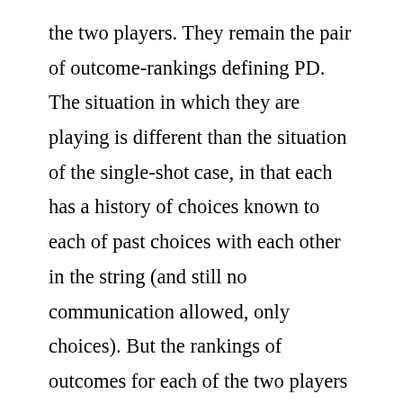the two players. They remain the pair of outcome-rankings defining PD. The situation in which they are playing is different than the situation of the single-shot case, in that each has a history of choices known to each of past choices with each other in the string (and still no communication allowed, only choices). But the rankings of outcomes for each of the two players remains constant throughout in the iterations. No change of rankings is required for the emergence of cooperation (when there is such an emergence) in the iterated case. I concur